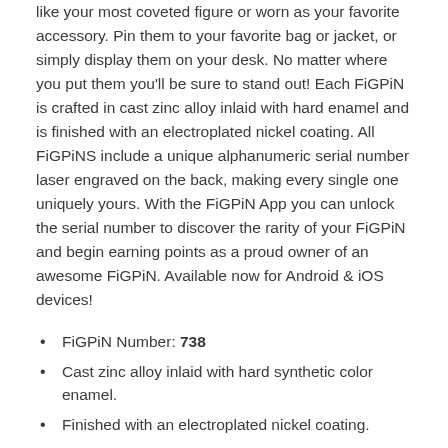like your most coveted figure or worn as your favorite accessory. Pin them to your favorite bag or jacket, or simply display them on your desk. No matter where you put them you'll be sure to stand out! Each FiGPiN is crafted in cast zinc alloy inlaid with hard enamel and is finished with an electroplated nickel coating. All FiGPiNS include a unique alphanumeric serial number laser engraved on the back, making every single one uniquely yours. With the FiGPiN App you can unlock the serial number to discover the rarity of your FiGPiN and begin earning points as a proud owner of an awesome FiGPiN. Available now for Android & iOS devices!
FiGPiN Number: 738
Cast zinc alloy inlaid with hard synthetic color enamel.
Finished with an electroplated nickel coating.
Stands up with a Patented FiGPiN rubber backer or FiGPiN action post.
Featuring a...